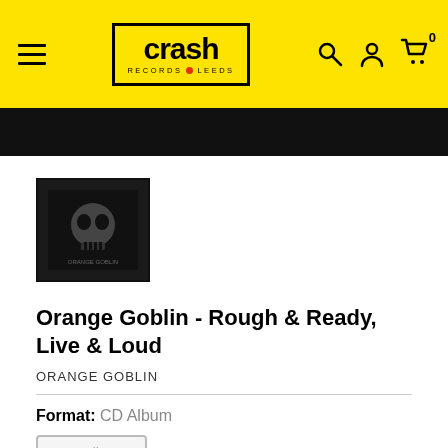Crash Records Leeds — navigation header with logo, hamburger menu, search, account, and cart icons
[Figure (screenshot): Black promotional banner at top of product page]
[Figure (photo): Small album cover thumbnail for Orange Goblin - Rough & Ready, Live & Loud, dark/black image with skull-like face]
Orange Goblin - Rough & Ready, Live & Loud
ORANGE GOBLIN
Format: CD Album
CD Album